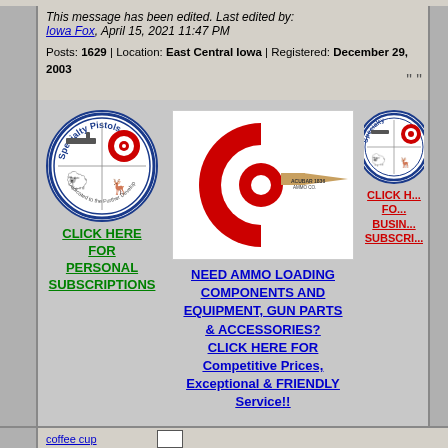This message has been edited. Last edited by: Iowa Fox, April 15, 2021 11:47 PM
Posts: 1629 | Location: East Central Iowa | Registered: December 29, 2003
[Figure (logo): Specialty Pistols circular logo with gun and animal silhouettes]
CLICK HERE FOR PERSONAL SUBSCRIPTIONS
[Figure (illustration): Center ad: red C-shaped target with bullet, ammo loading components advertisement]
NEED AMMO LOADING COMPONENTS AND EQUIPMENT, GUN PARTS & ACCESSORIES? CLICK HERE FOR Competitive Prices, Exceptional & FRIENDLY Service!!
[Figure (logo): Specialty Pistols circular logo (partial, right side)]
CLICK HERE FOR BUSINESS SUBSCRIPTIONS
coffee cup